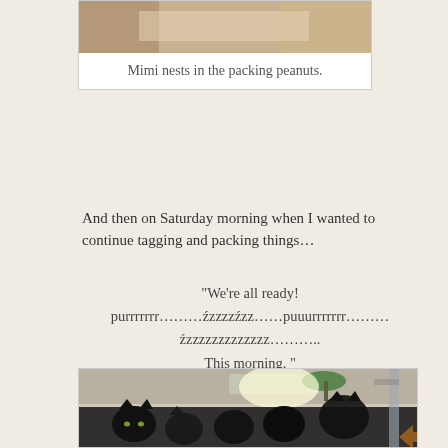[Figure (photo): Photo of a cat (Mimi) nesting in packing peanuts, with copyright watermark: (C) Bernadette E. Kazmarski www.the...]
Mimi nests in the packing peanuts.
And then on Saturday morning when I wanted to continue tagging and packing things…
“We’re all ready! purrrrrrr…………źzzzzzźzz……puuurrrrrrr………… źzzzzzzzzzzzzz……….. This morning. “
[Figure (photo): Photo of multiple black cats sitting together in a cluttered studio/workspace with a green lamp and shelves in the background.]